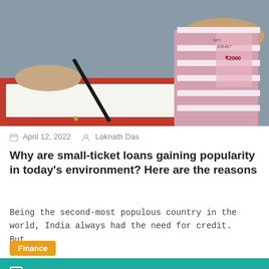[Figure (photo): Hands signing a document with stacks of Indian ₹2000 currency notes piled on a desk]
April 12, 2022   Loknath Das
Why are small-ticket loans gaining popularity in today's environment? Here are the reasons
Being the second-most populous country in the world, India always had the need for credit. But...
Finance
[Figure (illustration): MoneyTap branded card with teal background and illustrated figures]